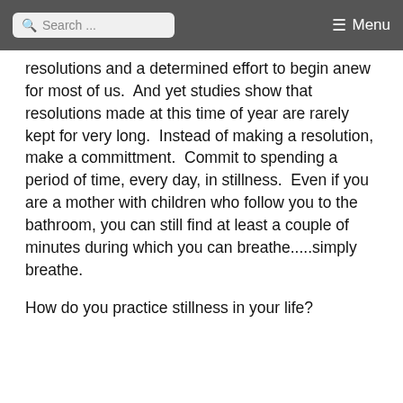Search ... Menu
resolutions and a determined effort to begin anew for most of us.  And yet studies show that resolutions made at this time of year are rarely kept for very long.  Instead of making a resolution, make a committment.  Commit to spending a period of time, every day, in stillness.  Even if you are a mother with children who follow you to the bathroom, you can still find at least a couple of minutes during which you can breathe.....simply breathe.
How do you practice stillness in your life?